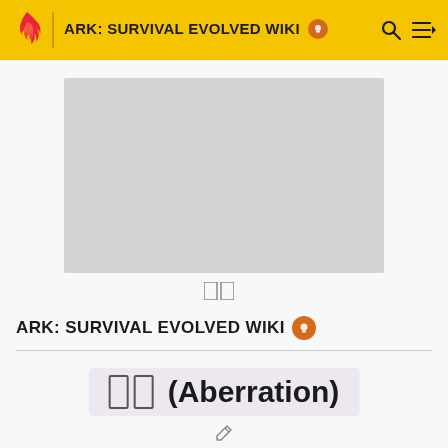ARK: SURVIVAL EVOLVED WIKI
[Figure (other): Gray advertisement/image placeholder rectangle]
ARK: SURVIVAL EVOLVED WIKI
(Aberration)